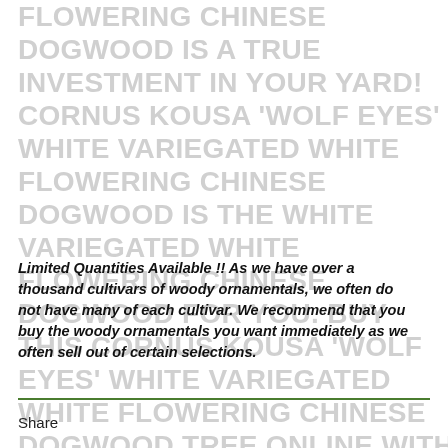FLOWERING CHINESE DOGWOOD IS A TRUE INVESTMENT IN YOUR YARD! CORNUS KOUSA 'WOLF EYES' WHITE VARIEGATED WHITE FLOWERING CHINESE DOGWOOD IS THE WHITE VARIEGATED WHITE FLOWERING CHINESE DOGWOOD FOR YOU. BUY THIS CORNUS KOUSA 'WOLF EYES' WHITE VARIEGATED WHITE FLOWERING CHINESE DOGWOOD TREE ONLINE WITH CONFIDENCE AT OUR ONLINE JAPANESE MAPLE STORE!
Limited Quantities Available !! As we have over a thousand cultivars of woody ornamentals, we often do not have many of each cultivar. We recommend that you buy the woody ornamentals you want immediately as we often sell out of certain selections.
Share